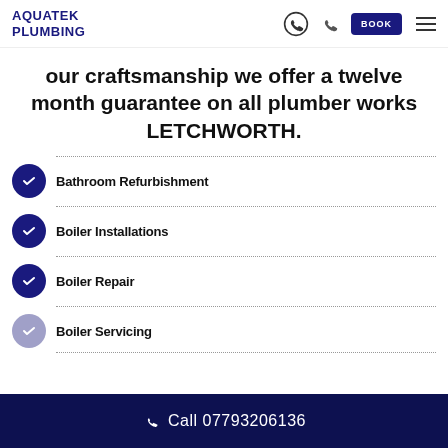[Figure (logo): Aquatek Plumbing logo with blue text]
our craftsmanship we offer a twelve month guarantee on all plumber works LETCHWORTH.
Bathroom Refurbishment
Boiler Installations
Boiler Repair
Boiler Servicing
Call 07793206136